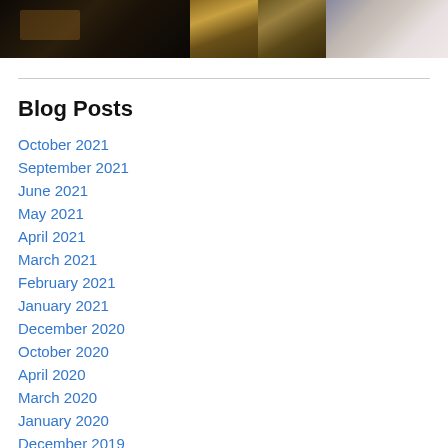[Figure (photo): Strip of four photos showing theatrical/fashion scenes: a dark theater stage, golden fabric/costume, brownish costume, and a person in pink near equipment]
Blog Posts
October 2021
September 2021
June 2021
May 2021
April 2021
March 2021
February 2021
January 2021
December 2020
October 2020
April 2020
March 2020
January 2020
December 2019